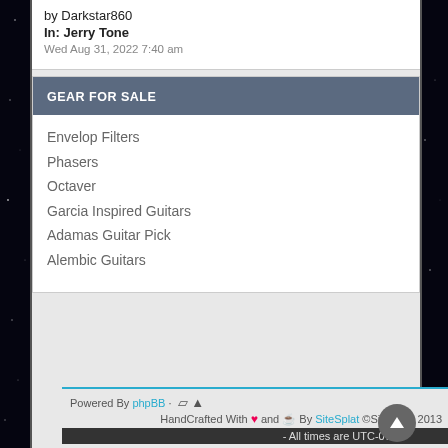by Darkstar860
In: Jerry Tone
Wed Aug 31, 2022 7:40 am
GEAR FOR SALE
Envelop Filters
Phasers
Octaver
Garcia Inspired Guitars
Adamas Guitar Pick
Alembic Guitars
Powered By phpBB · HandCrafted With ❤ and ☕ By SiteSplat ©SiteSplat 2013 - All times are UTC-07:0